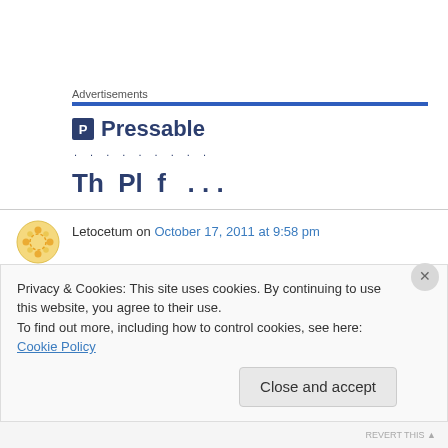Advertisements
[Figure (logo): Pressable logo with dark blue square icon containing letter P and text 'Pressable']
......... (dots row)
Th Pl f ... (partial cropped text)
Letocetum on October 17, 2011 at 9:58 pm
The House next door to the George and Dragon
Privacy & Cookies: This site uses cookies. By continuing to use this website, you agree to their use.
To find out more, including how to control cookies, see here: Cookie Policy
Close and accept